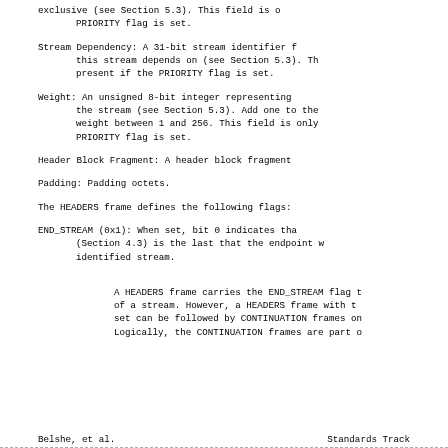exclusive (see Section 5.3).  This field is o
   PRIORITY flag is set.
Stream Dependency:  A 31-bit stream identifier f
   this stream depends on (see Section 5.3).  Th
   present if the PRIORITY flag is set.
Weight:  An unsigned 8-bit integer representing
   the stream (see Section 5.3).  Add one to the
   weight between 1 and 256.  This field is only
   PRIORITY flag is set.
Header Block Fragment:  A header block fragment
Padding:  Padding octets.
The HEADERS frame defines the following flags:
END_STREAM (0x1):  When set, bit 0 indicates tha
   (Section 4.3) is the last that the endpoint w
   identified stream.

   A HEADERS frame carries the END_STREAM flag t
   of a stream.  However, a HEADERS frame with t
   set can be followed by CONTINUATION frames on
   Logically, the CONTINUATION frames are part o
Belshe, et al.                    Standards Track